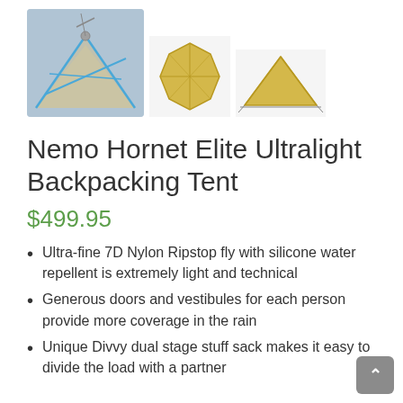[Figure (photo): Three thumbnail images of the Nemo Hornet Elite tent: a close-up of tent poles/stakes detail on a gray/blue background, a folded/packed tent in yellow, and the tent pitched in yellow triangular profile view.]
Nemo Hornet Elite Ultralight Backpacking Tent
$499.95
Ultra-fine 7D Nylon Ripstop fly with silicone water repellent is extremely light and technical
Generous doors and vestibules for each person provide more coverage in the rain
Unique Divvy dual stage stuff sack makes it easy to divide the load with a partner